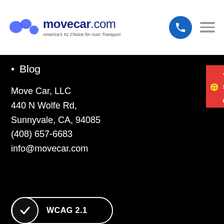movecar.com — America's #1 Choice for Auto Transport
Blog
Move Car, LLC
440 N Wolfe Rd,
Sunnyvale, CA, 94085
(408) 657-6683
info@movecar.com
[Figure (other): WCAG 2.1 compliance badge with checkmark]
GET INSTANT CAR SHIPPING PRICE